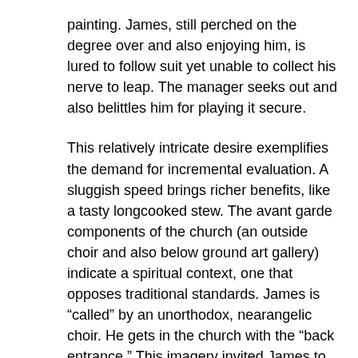painting. James, still perched on the degree over and also enjoying him, is lured to follow suit yet unable to collect his nerve to leap. The manager seeks out and also belittles him for playing it secure.
This relatively intricate desire exemplifies the demand for incremental evaluation. A sluggish speed brings richer benefits, like a tasty longcooked stew. The avant garde components of the church (an outside choir and also below ground art gallery) indicate a spiritual context, one that opposes traditional standards. James is “called” by an unorthodox, nearangelic choir. He gets in the church with the “back entrance.” This imagery invited James to nail his creativity as a profound enigma, providing from both within as well as past the boundaries of church authority. The only authority below is a curator, an art “editor” of kinds, that makes needs however also overviews James to the internal midsts.